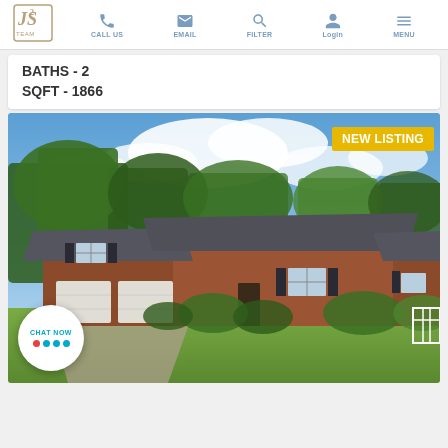JS Team - CALL US EMAIL FILTER Login MENU
BATHS - 2
SQFT - 1866
[Figure (photo): Exterior photo of a red brick ranch-style house with two-car garage, tall trees in background, blue sky with clouds. NEW LISTING badge in top right corner.]